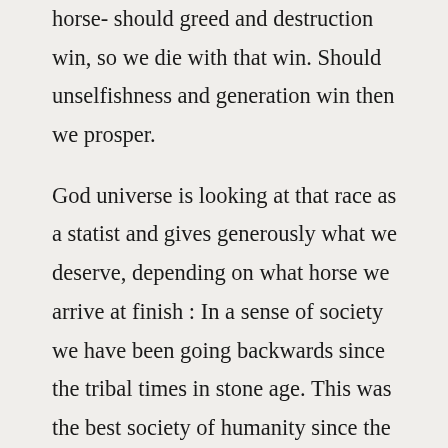horse- should greed and destruction win, so we die with that win. Should unselfishness and generation win then we prosper.
God universe is looking at that race as a statist and gives generously what we deserve, depending on what horse we arrive at finish : In a sense of society we have been going backwards since the tribal times in stone age. This was the best society of humanity since the dawn of man to this day. As histoy and science tell us in stone age tribal society the means clothes and food etc.
In general everybody did what they could and